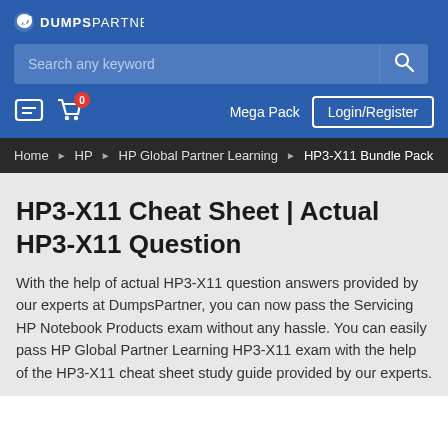[Figure (logo): DumpsPartner logo — white bird icon and white text 'DUMPSPARTNER' on blue background]
Search any keyword
Mega Pack   Login/Register
Home ▶ HP ▶ HP Global Partner Learning ▶ HP3-X11 Bundle Pack
HP3-X11 Cheat Sheet | Actual HP3-X11 Question
With the help of actual HP3-X11 question answers provided by our experts at DumpsPartner, you can now pass the Servicing HP Notebook Products exam without any hassle. You can easily pass HP Global Partner Learning HP3-X11 exam with the help of the HP3-X11 cheat sheet study guide provided by our experts.